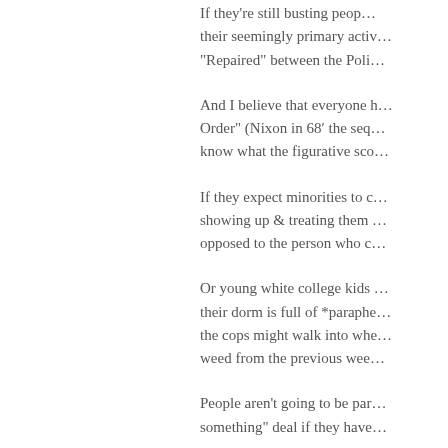If they're still busting people... their seemingly primary activi... "Repaired" between the Poli...
And I believe that everyone h... Order" (Nixon in 68' the seq... know what the figurative sco...
If they expect minorities to c... showing up & treating them ... opposed to the person who c...
Or young white college kids ... their dorm is full of *paraphe... the cops might walk into whe... weed from the previous wee...
People aren't going to be par... something" deal if they have...